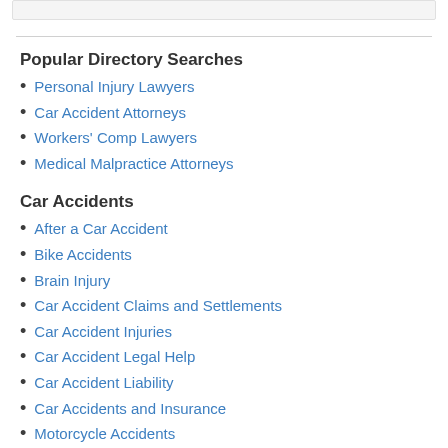Popular Directory Searches
Personal Injury Lawyers
Car Accident Attorneys
Workers' Comp Lawyers
Medical Malpractice Attorneys
Car Accidents
After a Car Accident
Bike Accidents
Brain Injury
Car Accident Claims and Settlements
Car Accident Injuries
Car Accident Legal Help
Car Accident Liability
Car Accidents and Insurance
Motorcycle Accidents
Pedestrian Accidents
Truck Accidents